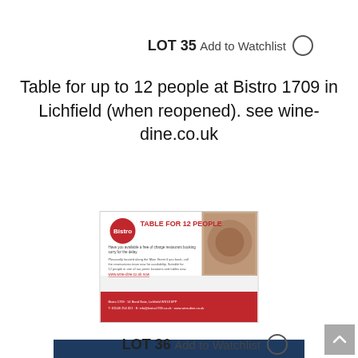LOT 35  Add to Watchlist ○
Table for up to 12 people at Bistro 1709 in Lichfield (when reopened). see wine-dine.co.uk
[Figure (other): Voucher/certificate image showing a red circular logo, text 'TABLE FOR 12 PEOPLE' in red on white background, body text, food photography background, and a red banner at the bottom with white text.]
VIEW DETAILS
LOT 36  Add to Watchlist ○